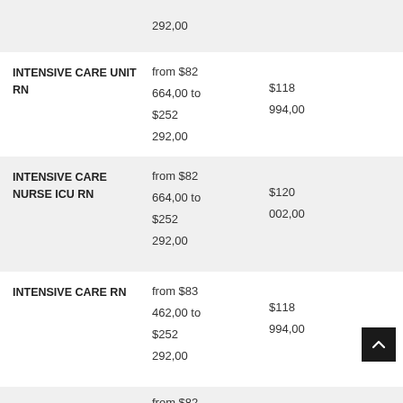| Job Title | Salary Range | High |
| --- | --- | --- |
|  | 292,00 |  |
| INTENSIVE CARE UNIT RN | from $82
664,00 to
$252
292,00 | $118
994,00 |
| INTENSIVE CARE NURSE ICU RN | from $82
664,00 to
$252
292,00 | $120
002,00 |
| INTENSIVE CARE RN | from $83
462,00 to
$252
292,00 | $118
994,00 |
|  | from $82 |  |